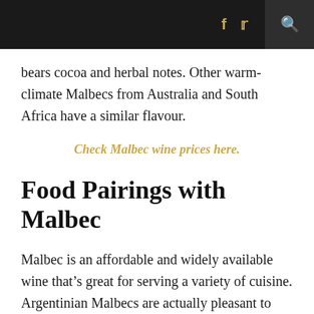f  ✔  🔍
bears cocoa and herbal notes. Other warm-climate Malbecs from Australia and South Africa have a similar flavour.
Check Malbec wine prices here.
Food Pairings with Malbec
Malbec is an affordable and widely available wine that’s great for serving a variety of cuisine. Argentinian Malbecs are actually pleasant to drink by themselves. But you can refer to this list